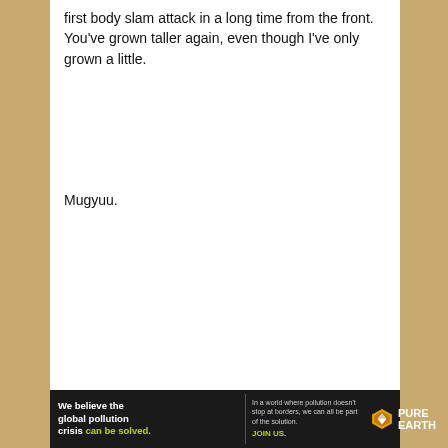first body slam attack in a long time from the front. You've grown taller again, even though I've only grown a little.
Mugyuu.
[Figure (infographic): Pure Earth advertisement banner. Left: bold white text reading 'We believe the global pollution crisis can be solved.' with 'can be solved.' in green. Middle: smaller text 'In a world where pollution doesn't stop at borders, we can all be part of the solution.' with 'JOIN US.' in yellow-green. Right: Pure Earth logo with diamond-arrow icon and 'PURE EARTH' text in white.]